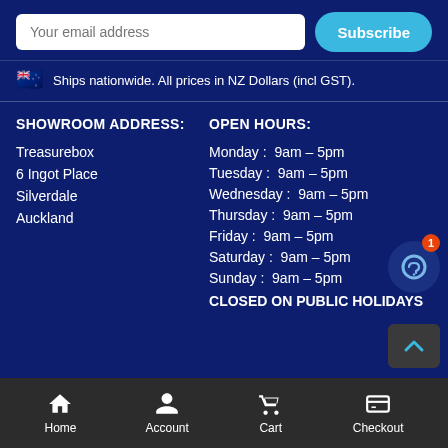Your email address
Subscribe
🇳🇿 Ships nationwide. All prices in NZ Dollars (incl GST).
SHOWROOM ADDRESS:
Treasurebox
6 Ingot Place
Silverdale
Auckland
OPEN HOURS:
Monday:  9am – 5pm
Tuesday:  9am – 5pm
Wednesday:  9am – 5pm
Thursday:  9am – 5pm
Friday:  9am – 5pm
Saturday:  9am – 5pm
Sunday:  9am – 5pm
CLOSED ON PUBLIC HOLIDAYS
Home  Account  Cart  Checkout